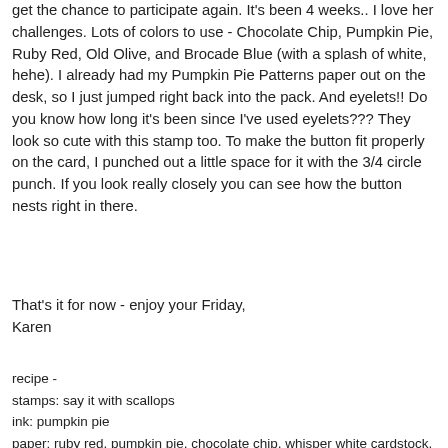get the chance to participate again. It's been 4 weeks.. I love her challenges. Lots of colors to use - Chocolate Chip, Pumpkin Pie, Ruby Red, Old Olive, and Brocade Blue (with a splash of white, hehe). I already had my Pumpkin Pie Patterns paper out on the desk, so I just jumped right back into the pack. And eyelets!! Do you know how long it's been since I've used eyelets??? They look so cute with this stamp too. To make the button fit properly on the card, I punched out a little space for it with the 3/4 circle punch. If you look really closely you can see how the button nests right in there.
That's it for now - enjoy your Friday,
Karen
recipe -
stamps: say it with scallops
ink: pumpkin pie
paper: ruby red, pumpkin pie, chocolate chip, whisper white cardstock, pumpkin pie patterns dsp
accessories: latte buttons, fresh favorites II eyelets, old olive 5/ 8"